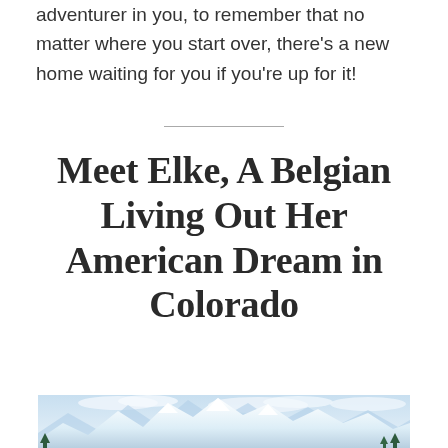adventurer in you, to remember that no matter where you start over, there's a new home waiting for you if you're up for it!
Meet Elke, A Belgian Living Out Her American Dream in Colorado
[Figure (photo): Snowy mountain range under a partly cloudy sky, with pine trees in the foreground — a Colorado mountain landscape.]